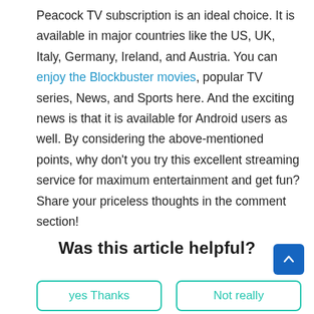Peacock TV subscription is an ideal choice. It is available in major countries like the US, UK, Italy, Germany, Ireland, and Austria. You can enjoy the Blockbuster movies, popular TV series, News, and Sports here. And the exciting news is that it is available for Android users as well. By considering the above-mentioned points, why don't you try this excellent streaming service for maximum entertainment and get fun? Share your priceless thoughts in the comment section!
Was this article helpful?
yes Thanks
Not really